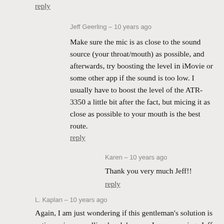reply
Jeff Geerling – 10 years ago
Make sure the mic is as close to the sound source (your throat/mouth) as possible, and afterwards, try boosting the level in iMovie or some other app if the sound is too low. I usually have to boost the level of the ATR-3350 a little bit after the fact, but micing it as close as possible to your mouth is the best route.
reply
Karen – 10 years ago
Thank you very much Jeff!!
reply
L. Kaplan – 10 years ago
Again, I am just wondering if this gentleman's solution is active noise cancelling headphones....I am assuming, Jeff, you want to listen to music, not use the iPod as an amplifier aid. If so the question is how can you use the iPod to simultaneously monitor sounds through a microphone? If that is the question, then I